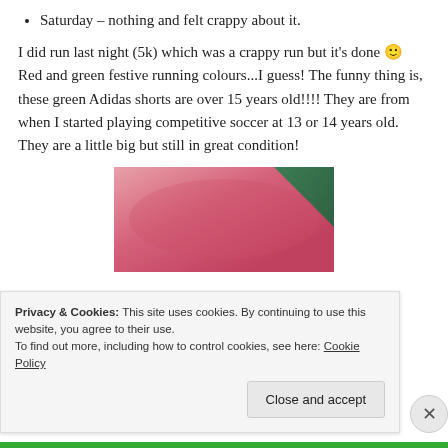Saturday – nothing and felt crappy about it.
I did run last night (5k) which was a crappy run but it's done 🙂 Red and green festive running colours...I guess! The funny thing is, these green Adidas shorts are over 15 years old!!!! They are from when I started playing competitive soccer at 13 or 14 years old. They are a little big but still in great condition!
[Figure (photo): Close-up photo of red/pink running top and green Adidas shorts.]
Privacy & Cookies: This site uses cookies. By continuing to use this website, you agree to their use.
To find out more, including how to control cookies, see here: Cookie Policy
Close and accept